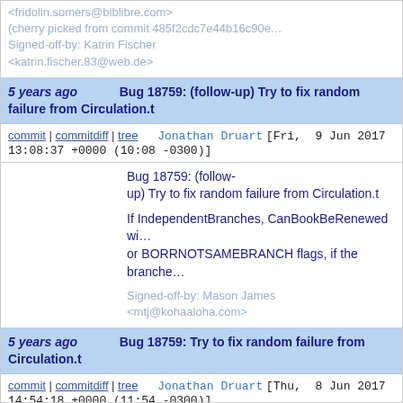<fridolin.somers@biblibre.com>
(cherry picked from commit 485f2cdc7e44b16c90...
Signed-off-by: Katrin Fischer <katrin.fischer.83@web.de>
5 years ago   Bug 18759: (follow-up) Try to fix random failure from Circulation.t
commit | commitdiff | tree   Jonathan Druart [Fri, 9 Jun 2017 13:08:37 +0000 (10:08 -0300)]
Bug 18759: (follow-up) Try to fix random failure from Circulation.t

If IndependentBranches, CanBookBeRenewed wi... or BORRNOTSAMEBRANCH flags, if the branche...

Signed-off-by: Mason James <mtj@kohaaloha.com>
5 years ago   Bug 18759: Try to fix random failure from Circulation.t
commit | commitdiff | tree   Jonathan Druart [Thu, 8 Jun 2017 14:54:18 +0000 (11:54 -0300)]
Bug 18759: Try to fix random failure from Circulati...

Circulation.t is failing randomly on our CI https://jenkins.koha-community.org/job/Koha_Master_D8/192/console...